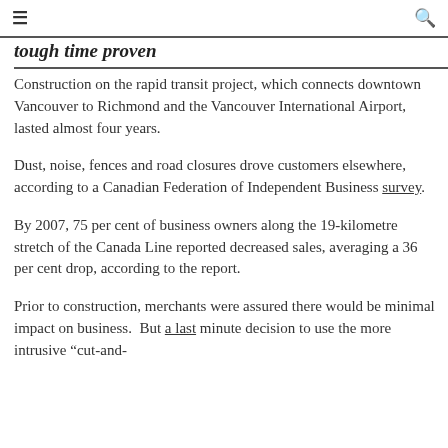≡  🔍
tough time proven
Construction on the rapid transit project, which connects downtown Vancouver to Richmond and the Vancouver International Airport, lasted almost four years.
Dust, noise, fences and road closures drove customers elsewhere, according to a Canadian Federation of Independent Business survey.
By 2007, 75 per cent of business owners along the 19-kilometre stretch of the Canada Line reported decreased sales, averaging a 36 per cent drop, according to the report.
Prior to construction, merchants were assured there would be minimal impact on business.  But a last minute decision to use the more intrusive "cut-and-